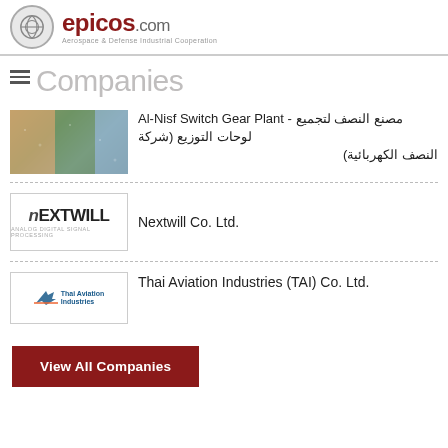epicos.com — Aerospace & Defense Industrial Cooperation
Companies
Al-Nisf Switch Gear Plant - مصنع النصف لتجميع لوحات التوزيع (شركة النصف الكهربائية)
Nextwill Co. Ltd.
Thai Aviation Industries (TAI) Co. Ltd.
View All Companies